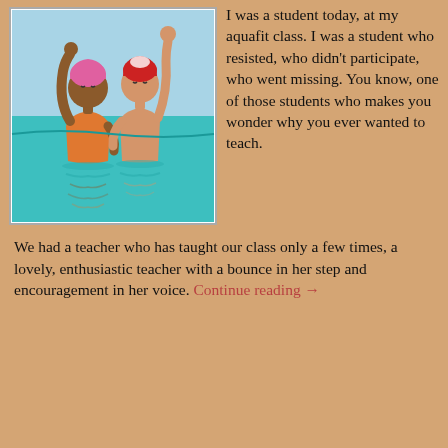[Figure (illustration): Clip art illustration of two people in a swimming pool. One person with dark skin wearing an orange swimsuit and pink swim cap has their arm raised. Another person with light skin wearing a red and white swim cap also has their arm raised. Both are standing waist-deep in teal/turquoise water with reflections visible.]
I was a student today, at my aquafit class. I was a student who resisted, who didn't participate, who went missing. You know, one of those students who makes you wonder why you ever wanted to teach.
We had a teacher who has taught our class only a few times, a lovely, enthusiastic teacher with a bounce in her step and encouragement in her voice. Continue reading →